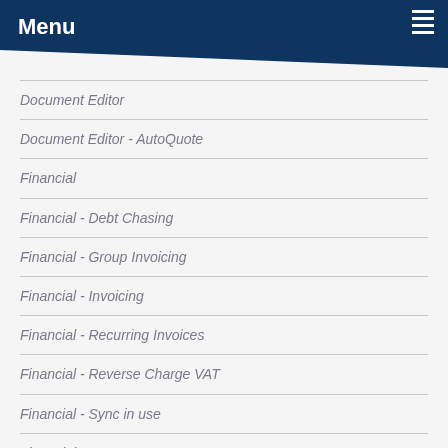Menu
Document Editor
Document Editor - AutoQuote
Financial
Financial - Debt Chasing
Financial - Group Invoicing
Financial - Invoicing
Financial - Recurring Invoices
Financial - Reverse Charge VAT
Financial - Sync in use
Financial - Sync Setup
Financial - Tracking
Mobile App - General Information
Mobile App - In Use (Basic)
Mobile App - Parts Picker